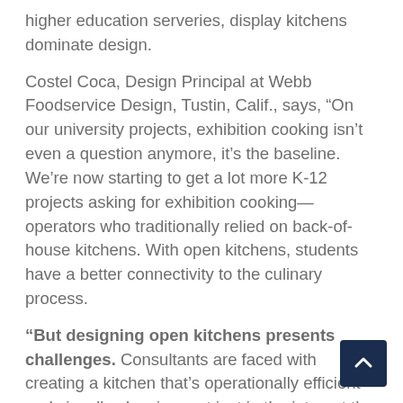higher education serveries, display kitchens dominate design.
Costel Coca, Design Principal at Webb Foodservice Design, Tustin, Calif., says, “On our university projects, exhibition cooking isn’t even a question anymore, it’s the baseline. We’re now starting to get a lot more K-12 projects asking for exhibition cooking—operators who traditionally relied on back-of-house kitchens. With open kitchens, students have a better connectivity to the culinary process.
"But designing open kitchens presents challenges. Consultants are faced with creating a kitchen that’s operationally efficient and visually pleasing, not just in the interest the food preparation generates, but in the ability for employees to keep it neat